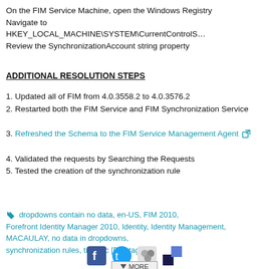On the FIM Service Machine, open the Windows Registry
Navigate to HKEY_LOCAL_MACHINE\SYSTEM\CurrentControlS…
Review the SynchronizationAccount string property
ADDITIONAL RESOLUTION STEPS
1. Updated all of FIM from 4.0.3558.2 to 4.0.3576.2
2. Restarted both the FIM Service and FIM Synchronization Service
3. Refreshed the Schema to the FIM Service Management Agent
4. Validated the requests by Searching the Requests
5. Tested the creation of the synchronization rule
dropdowns contain no data, en-US, FIM 2010, Forefront Identity Manager 2010, Identity, Identity Management, MACAULAY, no data in dropdowns, synchronization rules, timmac [Edit tags]